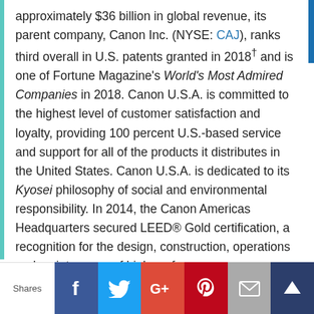approximately $36 billion in global revenue, its parent company, Canon Inc. (NYSE: CAJ), ranks third overall in U.S. patents granted in 2018† and is one of Fortune Magazine's World's Most Admired Companies in 2018. Canon U.S.A. is committed to the highest level of customer satisfaction and loyalty, providing 100 percent U.S.-based service and support for all of the products it distributes in the United States. Canon U.S.A. is dedicated to its Kyosei philosophy of social and environmental responsibility. In 2014, the Canon Americas Headquarters secured LEED® Gold certification, a recognition for the design, construction, operations and maintenance of high-performance green buildings. To keep apprised of the latest news from Canon U.S.A., sign up for the
Shares | Facebook | Twitter | Google+ | Pinterest | Email | Crown